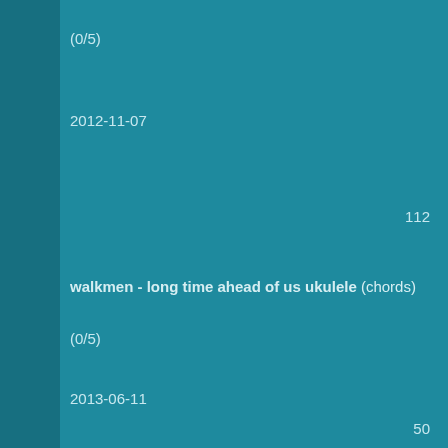(0/5)
2012-11-07
112
walkmen - long time ahead of us ukulele (chords)
(0/5)
2013-06-11
50
walkmen - lost in boston (lyrics)
(0/5)
2012-11-06
62